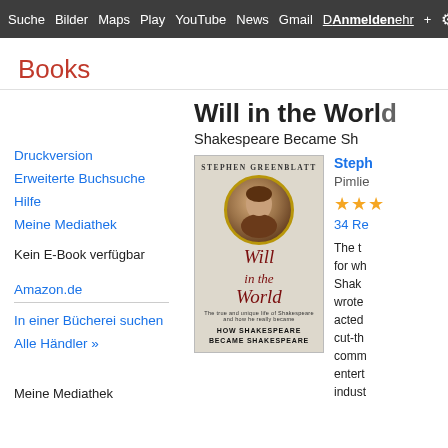Suche Bilder Maps Play YouTube News Gmail Mehr Anmelden ⚙
Books
Druckversion
Erweiterte Buchsuche
Hilfe
Meine Mediathek
Kein E-Book verfügbar
Amazon.de
In einer Bücherei suchen
Alle Händler »
Meine Mediathek
Will in the World
Shakespeare Became Sh
[Figure (illustration): Book cover of 'Will in the World: How Shakespeare Became Shakespeare' by Stephen Greenblatt, published by Pimlico. Shows a portrait of Shakespeare in a circular frame with decorative calligraphic title text in red.]
Steph
Pimlie
★★★
34 Re
The t for wh Shak wrote acted cut-th comm entert indust